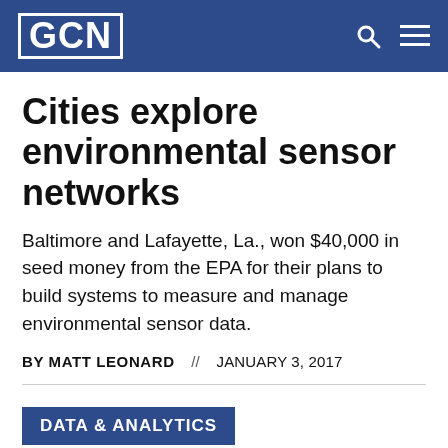GCN
Cities explore environmental sensor networks
Baltimore and Lafayette, La., won $40,000 in seed money from the EPA for their plans to build systems to measure and manage environmental sensor data.
BY MATT LEONARD // JANUARY 3, 2017
DATA & ANALYTICS